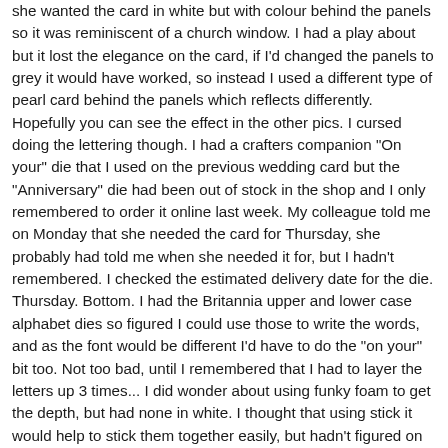she wanted the card in white but with colour behind the panels so it was reminiscent of a church window. I had a play about but it lost the elegance on the card, if I'd changed the panels to grey it would have worked, so instead I used a different type of pearl card behind the panels which reflects differently. Hopefully you can see the effect in the other pics. I cursed doing the lettering though. I had a crafters companion "On your" die that I used on the previous wedding card but the "Anniversary" die had been out of stock in the shop and I only remembered to order it online last week. My colleague told me on Monday that she needed the card for Thursday, she probably had told me when she needed it for, but I hadn't remembered. I checked the estimated delivery date for the die. Thursday. Bottom. I had the Britannia upper and lower case alphabet dies so figured I could use those to write the words, and as the font would be different I'd have to do the "on your" bit too. Not too bad, until I remembered that I had to layer the letters up 3 times... I did wonder about using funky foam to get the depth, but had none in white. I thought that using stick it would help to stick them together easily, but hadn't figured on how fiddly peeling the backing off tiny letters would be! I got there in the end.